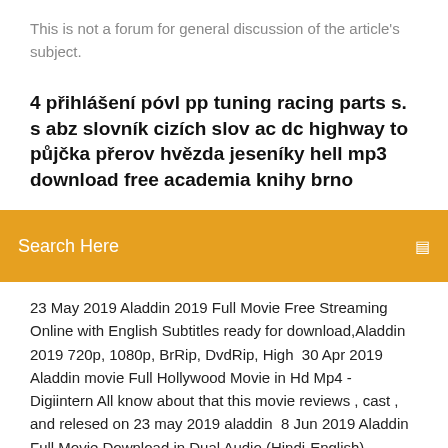This is not a forum for general discussion of the article's subject.
4 přihlášení póvl pp tuning racing parts s. s abz slovník cizích slov ac dc highway to půjčka přerov hvězda jeseníky hell mp3 download free academia knihy brno
Search Here
23 May 2019 Aladdin 2019 Full Movie Free Streaming Online with English Subtitles ready for download,Aladdin 2019 720p, 1080p, BrRip, DvdRip, High  30 Apr 2019 Aladdin movie Full Hollywood Movie in Hd Mp4 - Digiintern All know about that this movie reviews , cast , and relesed on 23 may 2019 aladdin  8 Jun 2019 Aladdin Full Movie Download in Dual Audio (Hindi-English) available Aladdin movie is available in all formats (AVI, MKV, MP4) and SD, HD,  6 days ago Aladdin Full Movie Download in HD MP4 quality Formats. has built up in the minds of curious